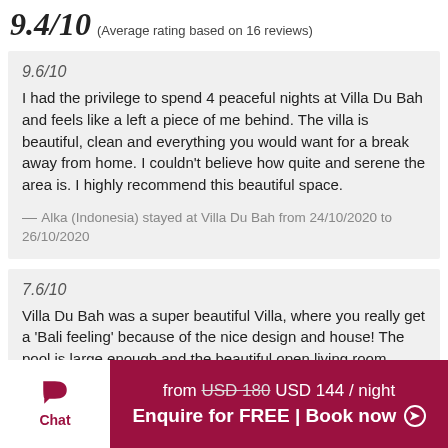9.4/10 (Average rating based on 16 reviews)
9.6/10
I had the privilege to spend 4 peaceful nights at Villa Du Bah and feels like a left a piece of me behind. The villa is beautiful, clean and everything you would want for a break away from home. I couldn't believe how quite and serene the area is. I highly recommend this beautiful space.
— Alka (Indonesia) stayed at Villa Du Bah from 24/10/2020 to 26/10/2020
7.6/10
Villa Du Bah was a super beautiful Villa, where you really get a 'Bali feeling' because of the nice design and house! The pool is large enough and the beautiful open living room completes the atmosphere. We were
from USD 180 USD 144 / night
Enquire for FREE | Book now
Chat